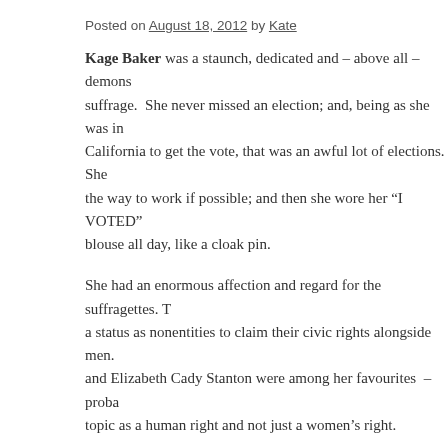Posted on August 18, 2012 by Kate
Kage Baker was a staunch, dedicated and – above all – demons suffrage. She never missed an election; and, being as she was in California to get the vote, that was an awful lot of elections. She the way to work if possible; and then she wore her “I VOTED” blouse all day, like a cloak pin.
She had an enormous affection and regard for the suffragettes. T a status as nonentities to claim their civic rights alongside men. and Elizabeth Cady Stanton were among her favourites – proba topic as a human right and not just a women’s right.
It was all sort of amazing, since Kage was one of the least publi advertise her political or religious views. She didn’t like people she’d had time to polish and refine those thoughts, and then she the reasons she was a writer. It let her present her inmost though rather than (as she succinctly described it) “blurting them out li